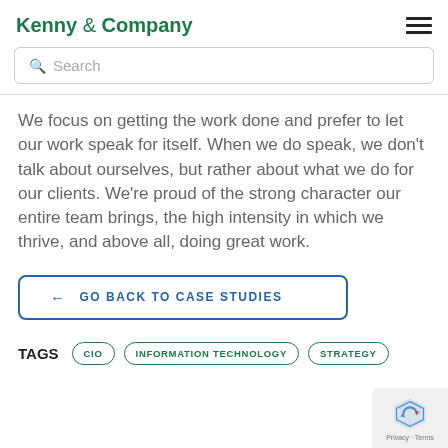Kenny & Company
We focus on getting the work done and prefer to let our work speak for itself. When we do speak, we don't talk about ourselves, but rather about what we do for our clients. We're proud of the strong character our entire team brings, the high intensity in which we thrive, and above all, doing great work.
← GO BACK TO CASE STUDIES
TAGS  CIO  INFORMATION TECHNOLOGY  STRATEGY